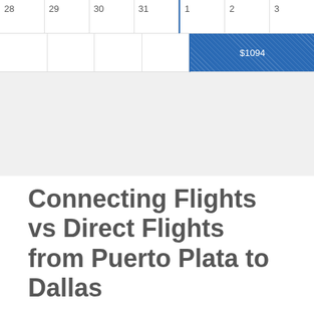| 28 | 29 | 30 | 31 | 1 | 2 | 3 |
| --- | --- | --- | --- | --- | --- | --- |
|  |  |  |  | $1094 |  |  |
Connecting Flights vs Direct Flights from Puerto Plata to Dallas
Flights between some cities may be significantly cheaper if you choose a multi-stop airline ticket. Although these connecting flights sacrifice some convenience, on average, travelers save 20%-60%